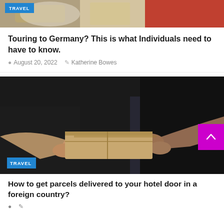[Figure (photo): Top portion of a food/travel photo with a blue TRAVEL badge overlay]
Touring to Germany? This is what Individuals need to have to know.
August 20, 2022  Katherine Bowes
[Figure (photo): Two people exchanging a cardboard package/parcel, close-up of hands, dark background with blurred kitchen. Blue TRAVEL badge in lower left corner.]
How to get parcels delivered to your hotel door in a foreign country?
Katherine Bowes